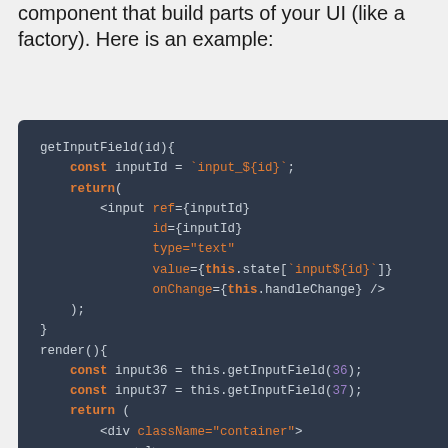component that build parts of your UI (like a factory). Here is an example:
[Figure (screenshot): Dark-themed code block showing a JavaScript/JSX class component with getInputField(id) and render() methods, including JSX input element and list rendering.]